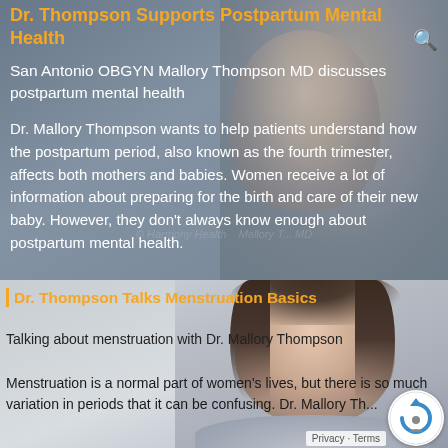Dr. Thompson Supports Postpartum Mental Health
San Antonio OBGYN Mallory Thompson MD discusses postpartum mental health
Dr. Mallory Thompson wants to help patients understand how the postpartum period, also known as the fourth trimester, affects both mothers and babies. Women receive a lot of information about preparing for the birth and care of their new baby. However, they don't always know enough about postpartum mental health.
[Figure (photo): Photo of a woman (Dr. Thompson) in a medical/professional setting, upper body visible, wearing teal/mint top, looking slightly off-camera. Background is blurred.]
Dr. Thompson Talks Menstruation Basics
[Figure (photo): Professional headshot of Dr. Mallory Thompson, a woman with dark brown hair, smiling, against a light gray background.]
Talking about menstruation with Dr. Mallory Thompson
Menstruation is a normal part of women's lives, but there is so much variation in periods that it can be confusing. Dr. Mallory Th...